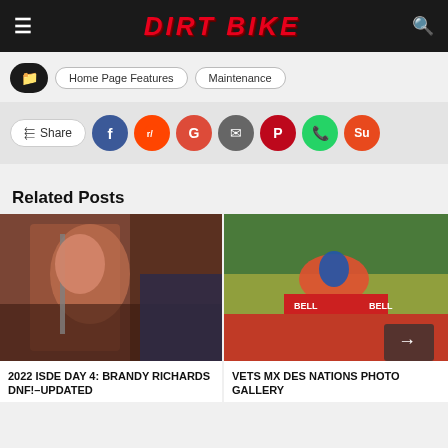DIRT BIKE
Home Page Features
Maintenance
Share
Related Posts
[Figure (photo): Woman in red gear working on a dirt bike under a tent at ISDE event]
2022 ISDE DAY 4: BRANDY RICHARDS DNF!–UPDATED
[Figure (photo): Motocross rider on a red dirt bike jumping at Vets MX des Nations event with Bell banner in background]
VETS MX DES NATIONS PHOTO GALLERY